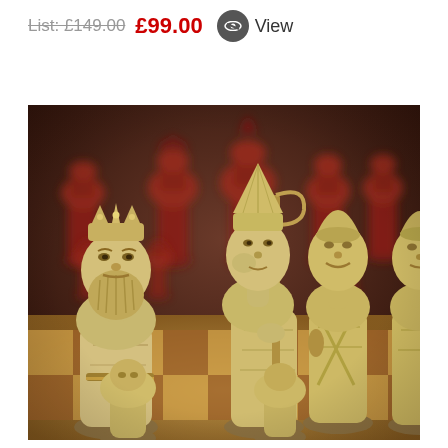List: £149.00  £99.00   View
[Figure (photo): Close-up photograph of Lewis chess pieces on a wooden chessboard. In the foreground are cream/ivory colored medieval chess pieces including a king with crown and beard holding a sword, a bishop holding a staff, and other pieces. In the background are dark red/maroon colored chess pieces arranged on the board.]